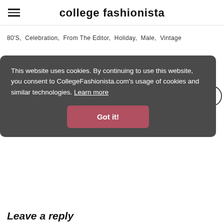college fashionista
80'S,  Celebration,  From The Editor,  Holiday,  Male,  Vintage
This website uses cookies. By continuing to use this website, you consent to CollegeFashionista.com's usage of cookies and similar technologies. Learn more
Got it!
June Mood Board: Find The Kid In You
Denim: The New Black
Leave a reply